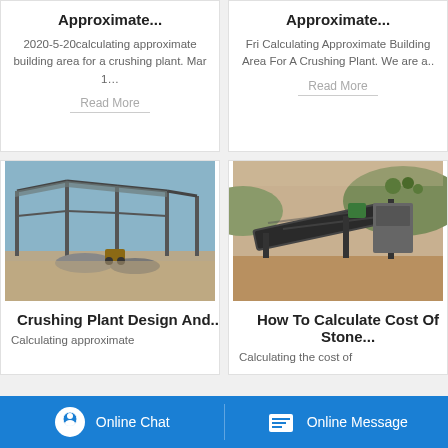Approximate... 2020-5-20calculating approximate building area for a crushing plant. Mar 1… Read More
Approximate... Fri Calculating Approximate Building Area For A Crushing Plant. We are a.. Read More
[Figure (photo): Photo of a construction site with steel frame structure being erected, piles of rubble and construction equipment on bare ground]
Crushing Plant Design And... Calculating approximate
[Figure (photo): Photo of stone crushing plant equipment with conveyor belts in an open-air site with hills in the background]
How To Calculate Cost Of Stone... Calculating the cost of
Online Chat   Online Message